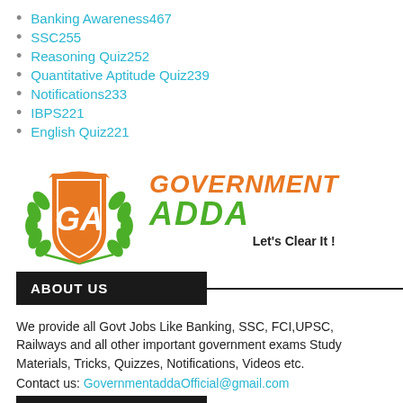Banking Awareness467
SSC255
Reasoning Quiz252
Quantitative Aptitude Quiz239
Notifications233
IBPS221
English Quiz221
[Figure (logo): Government Adda logo with orange shield containing 'GA', green laurel wreath, orange 'GOVERNMENT' text and green 'ADDA' text, tagline 'Let's Clear It !']
ABOUT US
We provide all Govt Jobs Like Banking, SSC, FCI,UPSC, Railways and all other important government exams Study Materials, Tricks, Quizzes, Notifications, Videos etc.
Contact us: GovernmentaddaOfficial@gmail.com
FOLLOW US